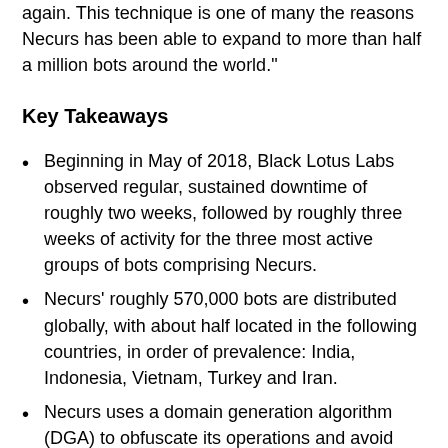again. This technique is one of many the reasons Necurs has been able to expand to more than half a million bots around the world."
Key Takeaways
Beginning in May of 2018, Black Lotus Labs observed regular, sustained downtime of roughly two weeks, followed by roughly three weeks of activity for the three most active groups of bots comprising Necurs.
Necurs' roughly 570,000 bots are distributed globally, with about half located in the following countries, in order of prevalence: India, Indonesia, Vietnam, Turkey and Iran.
Necurs uses a domain generation algorithm (DGA) to obfuscate its operations and avoid takedown. However, DGA is a double-edged sword: because the DGA domains Necurs will use are known in advance, security researchers can use methods like sinkholing DGA domains